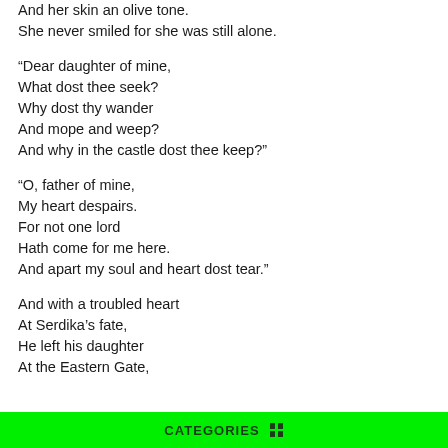And her skin an olive tone.
She never smiled for she was still alone.
“Dear daughter of mine,
What dost thee seek?
Why dost thy wander
And mope and weep?
And why in the castle dost thee keep?”
“O, father of mine,
My heart despairs.
For not one lord
Hath come for me here.
And apart my soul and heart dost tear.”
And with a troubled heart
At Serdika’s fate,
He left his daughter
At the Eastern Gate,
CATEGORIES